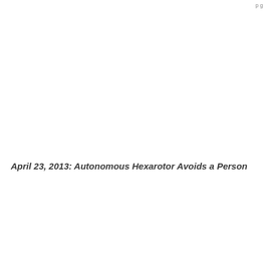p g
April 23, 2013: Autonomous Hexarotor Avoids a Person